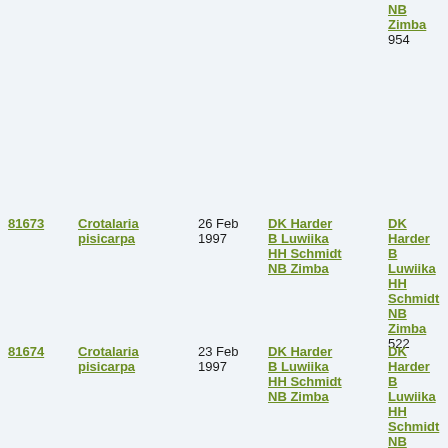| ID | Species | Date | Collectors | Det. |
| --- | --- | --- | --- | --- |
|  |  |  |  | NB
Zimba
954 |
| 81673 | Crotalaria pisicarpa | 26 Feb 1997 | DK Harder B Luwiika HH Schmidt NB Zimba | DK Harder B Luwiika HH Schmidt NB Zimba
522 |
| 81674 | Crotalaria pisicarpa | 23 Feb 1997 | DK Harder B Luwiika HH Schmidt NB Zimba | DK Harder B Luwiika HH Schmidt NB Zimba
964 |